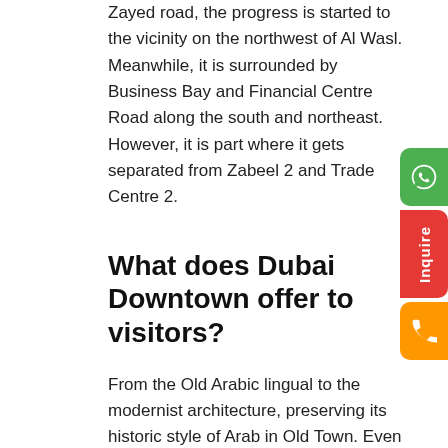Zayed road, the progress is started to the vicinity on the northwest of Al Wasl. Meanwhile, it is surrounded by Business Bay and Financial Centre Road along the south and northeast. However, it is part where it gets separated from Zabeel 2 and Trade Centre 2.
What does Dubai Downtown offer to visitors?
From the Old Arabic lingual to the modernist architecture, preserving its historic style of Arab in Old Town. Even though the rest of Dubai is all about high-rise up-to-date buildings, this place is its standard.
If you are wondering about visiting Downtown Dubai, you will get plenty of sites to see